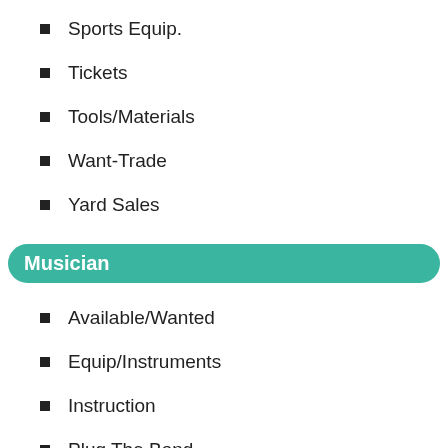Sports Equip.
Tickets
Tools/Materials
Want-Trade
Yard Sales
Musician
Available/Wanted
Equip/Instruments
Instruction
Plug The Band
Services